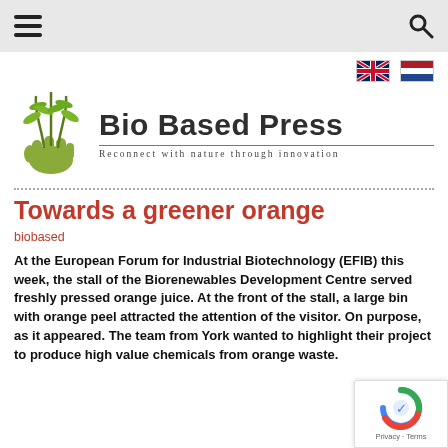Bio Based Press — Reconnect with nature through innovation
[Figure (logo): Bio Based Press logo: hand holding plant stems with text 'Bio Based Press' and tagline 'Reconnect with nature through innovation']
Towards a greener orange
biobased
At the European Forum for Industrial Biotechnology (EFIB) this week, the stall of the Biorenewables Development Centre served freshly pressed orange juice. At the front of the stall, a large bin with orange peel attracted the attention of the visitor. On purpose, as it appeared. The team from York wanted to highlight their project to produce high value chemicals from orange waste.